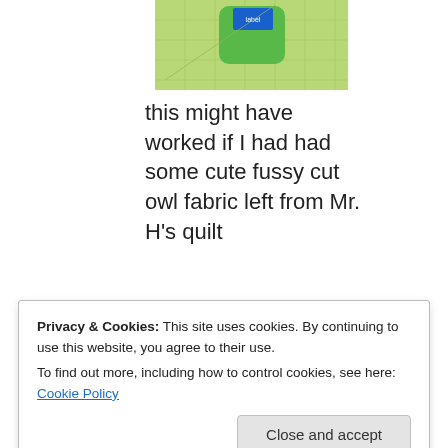[Figure (photo): A green cutting mat with a small green pillow or cushion with a blue label on top.]
this might have worked if I had had some cute fussy cut owl fabric left from Mr. H's quilt
[Figure (photo): A cutting mat with a decorative letter made from pink, black and white patterned fabric pieces arranged in the shape of a letter.]
Privacy & Cookies: This site uses cookies. By continuing to use this website, you agree to their use.
To find out more, including how to control cookies, see here: Cookie Policy
[Figure (photo): Bottom portion of a cutting mat, partially visible.]